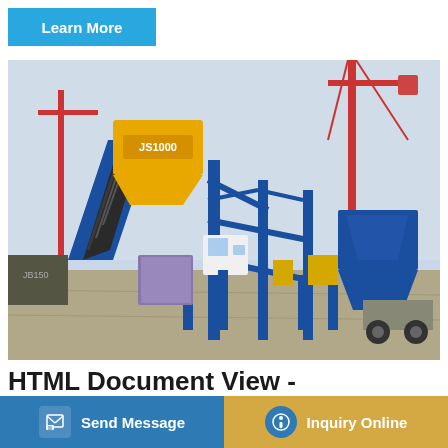Learn More
[Figure (photo): Blue industrial concrete mixing plant (JS1000) with yellow hopper, diagonal conveyor belt, and blue steel frame structure. Construction site with cranes visible in background.]
HTML Document View - Bankrupt11
201691 — 4351 44 BASIN CONCRETE INC UNKNOWN
33 37 ELECTRONIC PO BOX 4303 WILLISTON — 5651
0 32 T
Send Message
Inquiry Online